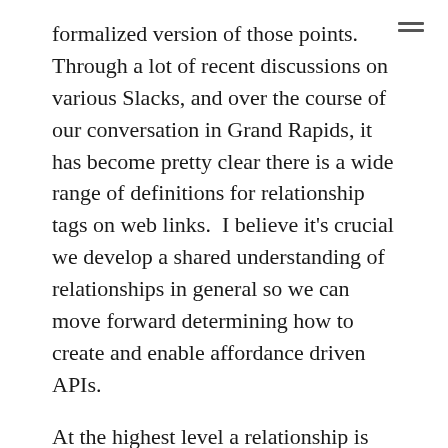formalized version of those points. Through a lot of recent discussions on various Slacks, and over the course of our conversation in Grand Rapids, it has become pretty clear there is a wide range of definitions for relationship tags on web links.  I believe it's crucial we develop a shared understanding of relationships in general so we can move forward determining how to create and enable affordance driven APIs.
At the highest level a relationship is merely the meaning which connects two concepts or contexts. A graph is a simple example, the relationships are the edges between two nodes. In the context of Web APIs relationships are the 'rel' attribute of RFC 8288 web links. The role of `rel` is to convey the semantics which join two contexts